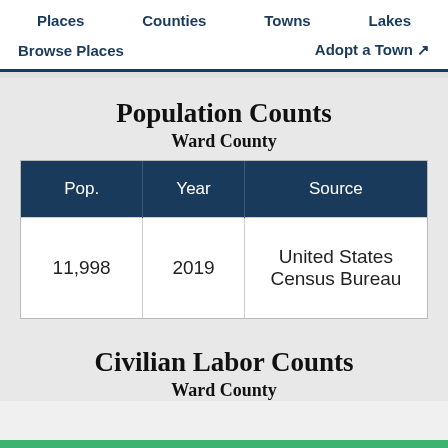Places   Counties   Towns   Lakes
Browse Places   Adopt a Town
Population Counts
Ward County
| Pop. | Year | Source |
| --- | --- | --- |
| 11,998 | 2019 | United States Census Bureau |
Civilian Labor Counts
Ward County